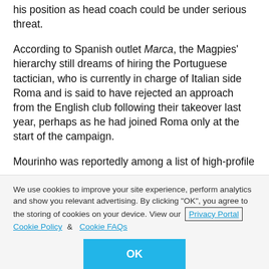his position as head coach could be under serious threat.
According to Spanish outlet Marca, the Magpies' hierarchy still dreams of hiring the Portuguese tactician, who is currently in charge of Italian side Roma and is said to have rejected an approach from the English club following their takeover last year, perhaps as he had joined Roma only at the start of the campaign.
Mourinho was reportedly among a list of high-profile
We use cookies to improve your site experience, perform analytics and show you relevant advertising. By clicking "OK", you agree to the storing of cookies on your device. View our Privacy Portal Cookie Policy & Cookie FAQs